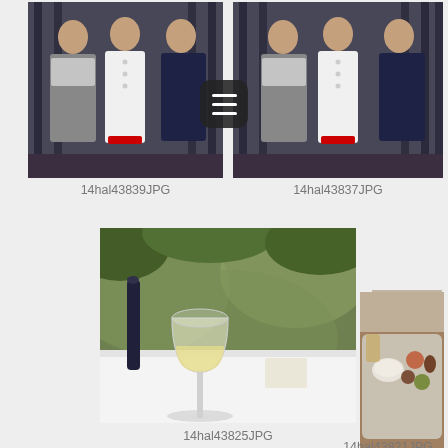[Figure (photo): Three women posing together outdoors, one in chef's white coat, one in gray scarf, one in dark jacket - left photo]
14hal43839JPG
[Figure (photo): Three women posing together outdoors, one in chef's white coat, one in gray scarf, one in dark jacket - right photo]
14hal43837JPG
[Figure (photo): Wine glass on white tablecloth with garden greenery in background]
14hal43825JPG
[Figure (photo): Food presentation on a silver tray with appetizers, small bowl, and drinks]
14hal43821JPG